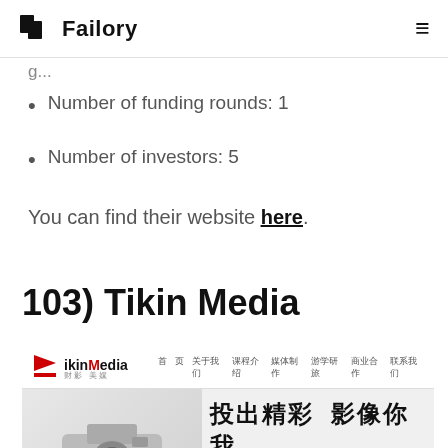Failory
Number of funding rounds: 1
Number of investors: 5
You can find their website here.
103) Tikin Media
[Figure (screenshot): Screenshot of the Tikin Media website showing logo, navigation bar with Chinese menu items, and a banner with a camera image and Chinese text reading '投出精彩 影像你我']